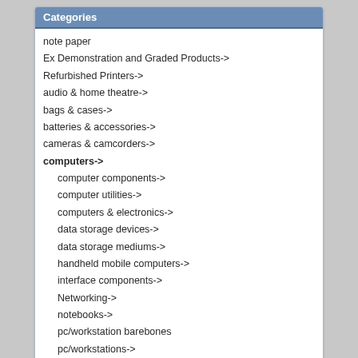Categories
note paper
Ex Demonstration and Graded Products->
Refurbished Printers->
audio & home theatre->
bags & cases->
batteries & accessories->
cameras & camcorders->
computers->
computer components->
computer utilities->
computers & electronics->
data storage devices->
data storage mediums->
handheld mobile computers->
interface components->
Networking->
notebooks->
pc/workstation barebones
pc/workstations->